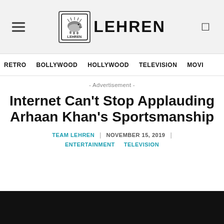LEHREN
RETRO  BOLLYWOOD  HOLLYWOOD  TELEVISION  MOVI…
- Advertisement -
Internet Can't Stop Applauding Arhaan Khan's Sportsmanship
TEAM LEHREN   NOVEMBER 15, 2019
ENTERTAINMENT   TELEVISION
[Figure (photo): Dark/black image area at bottom of page]